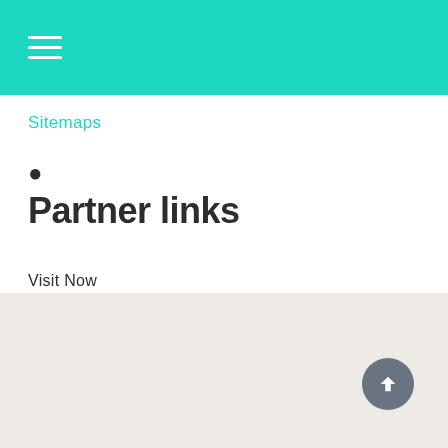Sitemaps
•
Partner links
Visit Now
Food